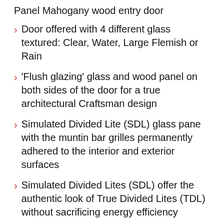Panel Mahogany wood entry door
Door offered with 4 different glass textured: Clear, Water, Large Flemish or Rain
'Flush glazing' glass and wood panel on both sides of the door for a true architectural Craftsman design
Simulated Divided Lite (SDL) glass pane with the muntin bar grilles permanently adhered to the interior and exterior surfaces
Simulated Divided Lites (SDL) offer the authentic look of True Divided Lites (TDL) without sacrificing energy efficiency
All glass options are tempered and insulated for added energy efficiency